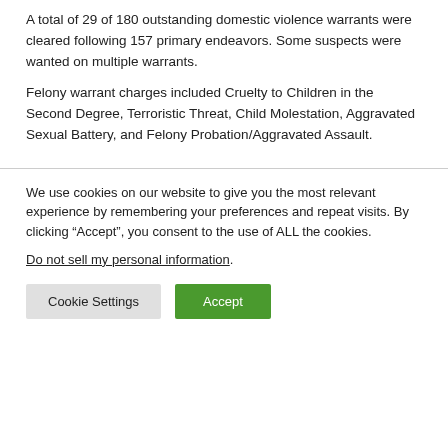A total of 29 of 180 outstanding domestic violence warrants were cleared following 157 primary endeavors. Some suspects were wanted on multiple warrants.
Felony warrant charges included Cruelty to Children in the Second Degree, Terroristic Threat, Child Molestation, Aggravated Sexual Battery, and Felony Probation/Aggravated Assault.
We use cookies on our website to give you the most relevant experience by remembering your preferences and repeat visits. By clicking “Accept”, you consent to the use of ALL the cookies. Do not sell my personal information.